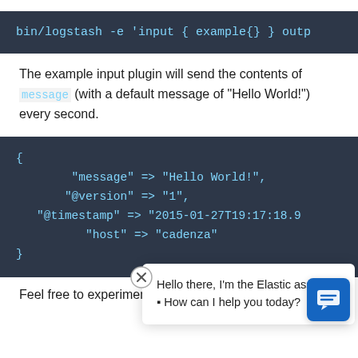[Figure (screenshot): Dark code block showing: bin/logstash -e 'input { example{} } outp (truncated)]
The example input plugin will send the contents of message (with a default message of "Hello World!") every second.
[Figure (screenshot): Dark code block showing JSON-like output: { "message" => "Hello World!", "@version" => "1", "@timestamp" => "2015-01-27T19:17:18.9 (truncated), "host" => "cadenza" }]
Feel free to experiment and test this by changing the